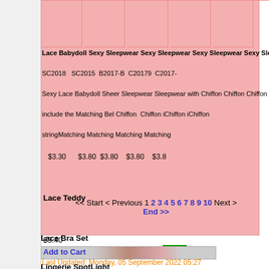Lace Babydoll  Sexy Sleepwear  Sexy Sleepwear  Sexy Sleepwear  Sexy Sleep
SC2018  SC2015  B2017-B  C20179  C2017-
Sexy Lace Babydoll Sheer Sleepwear Sleepwear with Chiffon Chiffon Chiffon Chiffon with
include the Matching Bel Chiffon Chiffon Chiffon Chiffon
string Matching Matching Matching Matching
$3.30  $3.80  $3.80  $3.80  $3.8
<< Start < Previous 1 2 3 4 5 6 7 8 9 10 Next > End >>
Display # 10
Last Updated: Monday, 05 September 2022 05:27
Lace Bra Set
Lingerie SpotLight
Lace Teddy
$3.40
Add to Cart